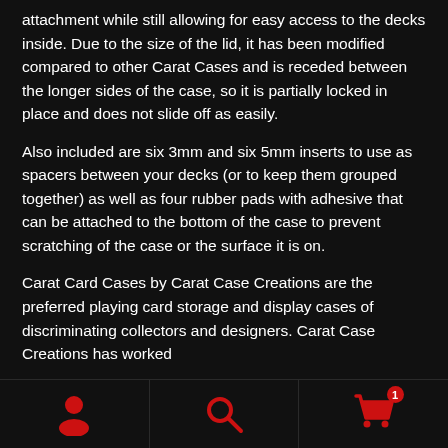attachment while still allowing for easy access to the decks inside. Due to the size of the lid, it has been modified compared to other Carat Cases and is receded between the longer sides of the case, so it is partially locked in place and does not slide off as easily.
Also included are six 3mm and six 5mm inserts to use as spacers between your decks (or to keep them grouped together) as well as four rubber pads with adhesive that can be attached to the bottom of the case to prevent scratching of the case or the surface it is on.
Carat Card Cases by Carat Case Creations are the preferred playing card storage and display cases of discriminating collectors and designers. Carat Case Creations has worked
[Figure (infographic): Bottom navigation bar with three icons: a person/user icon on the left, a search/magnifying glass icon in the center, and a shopping cart icon with a red badge showing '1' on the right. Icons are red on black background.]